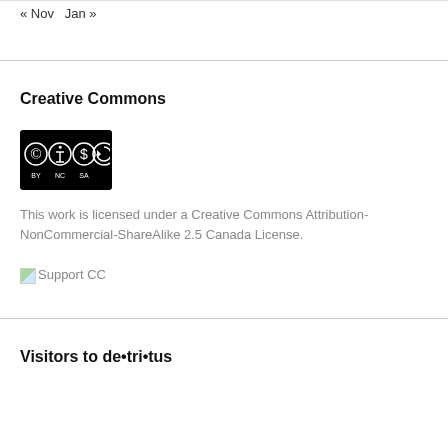« Nov   Jan »
Creative Commons
[Figure (logo): Creative Commons BY NC SA license badge — black rectangle with CC, BY, NC, SA icons]
This work is licensed under a Creative Commons Attribution-NonCommercial-ShareAlike 2.5 Canada License.
[Support CC]
Visitors to de•tri•tus